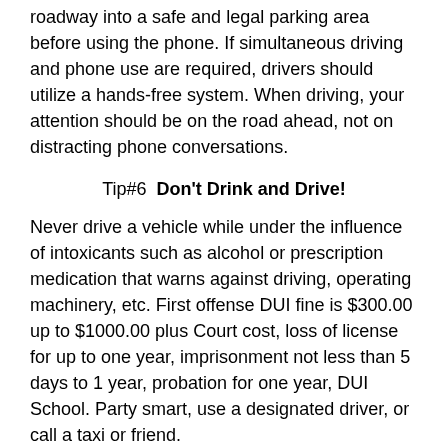roadway into a safe and legal parking area before using the phone. If simultaneous driving and phone use are required, drivers should utilize a hands-free system. When driving, your attention should be on the road ahead, not on distracting phone conversations.
Tip#6  Don't Drink and Drive!
Never drive a vehicle while under the influence of intoxicants such as alcohol or prescription medication that warns against driving, operating machinery, etc. First offense DUI fine is $300.00 up to $1000.00 plus Court cost, loss of license for up to one year, imprisonment not less than 5 days to 1 year, probation for one year, DUI School. Party smart, use a designated driver, or call a taxi or friend.
Colorado Revised Statute 42-4-1301
Tip#7   Take the time to arrive safely!!